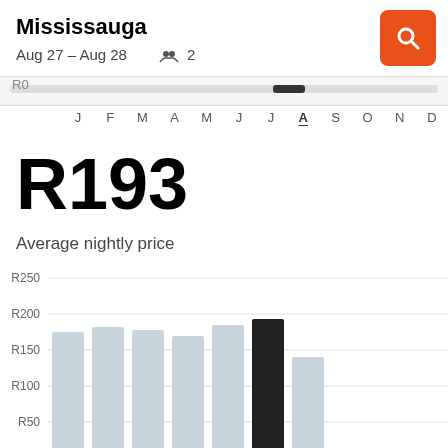Mississauga
Aug 27 – Aug 28   👥 2
[Figure (bar-chart): Bar chart showing average nightly price by month. August (current) bar is dark/black, others are light grey. Y-axis shows R50, R100, R150, R200, R250.]
R193
Average nightly price